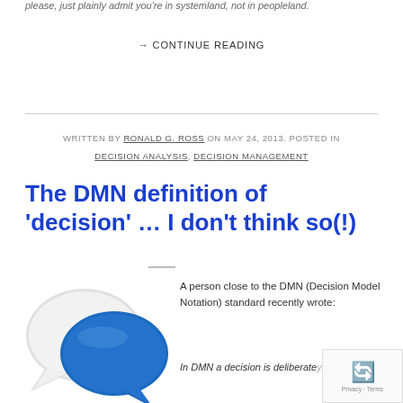please, just plainly admit you're in systemland, not in peopleland.
→ CONTINUE READING
WRITTEN BY RONALD G. ROSS ON MAY 24, 2013. POSTED IN DECISION ANALYSIS, DECISION MANAGEMENT
The DMN definition of 'decision' … I don't think so(!)
[Figure (illustration): Two speech bubbles — one white/grey and one blue — overlapping, representing conversation or decision dialogue.]
A person close to the DMN (Decision Model Notation) standard recently wrote:
In DMN a decision is deliberately…